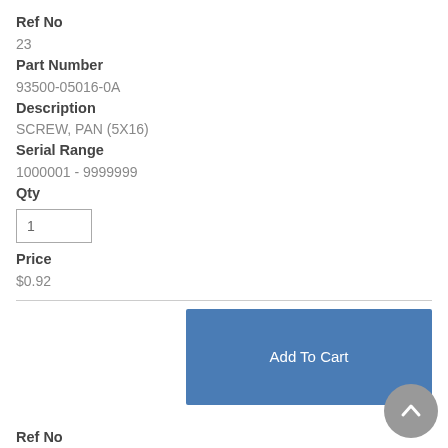Ref No
23
Part Number
93500-05016-0A
Description
SCREW, PAN (5X16)
Serial Range
1000001 - 9999999
Qty
1
Price
$0.92
Add To Cart
Ref No
24
Part Number
93500-05020-0A
Description
SCREW, PAN (5X20)